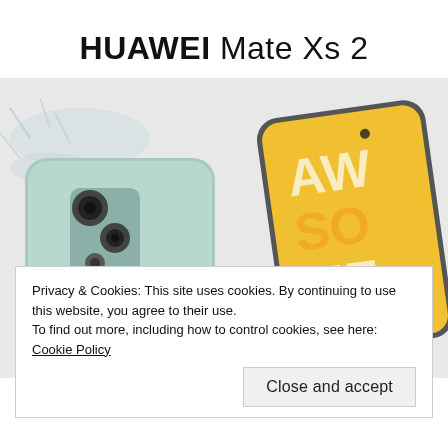HUAWEI Mate Xs 2
[Figure (photo): Product photo of two Huawei smartphones (mint green color) shown from the back and front, with water splashes around them and green plants visible at bottom]
Privacy & Cookies: This site uses cookies. By continuing to use this website, you agree to their use.
To find out more, including how to control cookies, see here: Cookie Policy
Close and accept